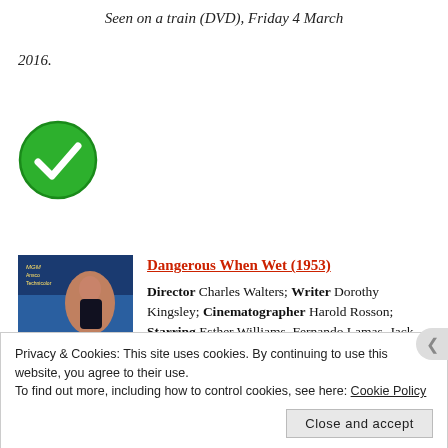Seen on a train (DVD), Friday 4 March 2016.
[Figure (illustration): Green circle with white checkmark icon]
[Figure (photo): Movie poster for Dangerous When Wet (1953) showing a woman in a swimsuit and other figures with blue/red movie poster design]
Dangerous When Wet (1953)
Director Charles Walters; Writer Dorothy Kingsley; Cinematographer Harold Rosson; Starring Esther Williams, Fernando Lamas, Jack Carson; Length 95 minutes. Seen on a train (DVD), Sunday 6 March 2016.
Privacy & Cookies: This site uses cookies. By continuing to use this website, you agree to their use.
To find out more, including how to control cookies, see here: Cookie Policy
Close and accept